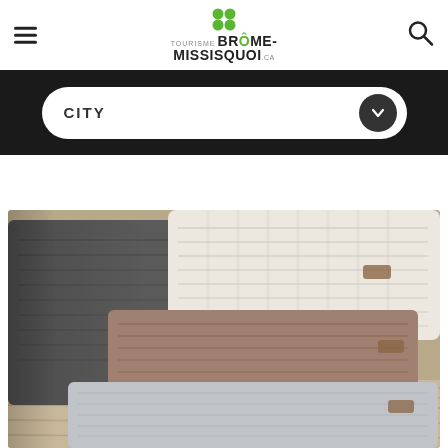Tourisme Brome-Missisquoi.ca
CITY
[Figure (photo): Stack of folded knitted wool items (scarves or blankets) in dark grey, cream/white, brown, and light grey colors, placed on a woven textile surface.]